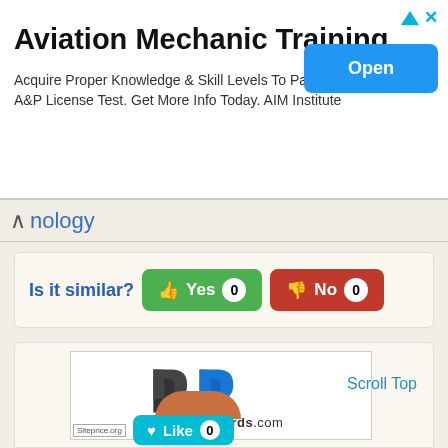[Figure (screenshot): Advertisement banner for Aviation Mechanic Training by AIM Institute with an Open button]
Aviation Mechanic Training
Acquire Proper Knowledge & Skill Levels To Pass The A&P License Test. Get More Info Today. AIM Institute
nology
Is it similar?
Yes 0
No 0
[Figure (logo): robbierichards.com logo with stylized RR mark]
Scroll Top
Like 0